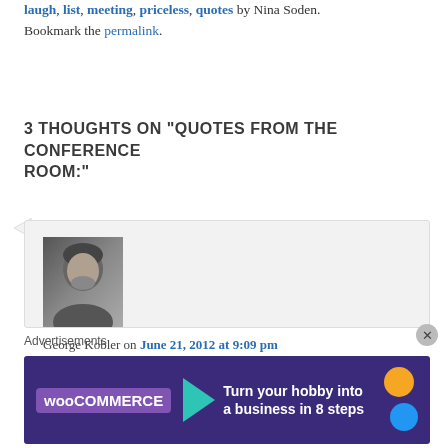laugh, list, meeting, priceless, quotes by Nina Soden. Bookmark the permalink.
3 THOUGHTS ON “QUOTES FROM THE CONFERENCE ROOM:”
George Kobler on June 21, 2012 at 9:09 pm said: One of my favorites: “It’s like a Baby Ruth (r) in a punch bowl! Game over!”
Advertisements
[Figure (illustration): WooCommerce advertisement banner: Turn your hobby into a business in 8 steps]